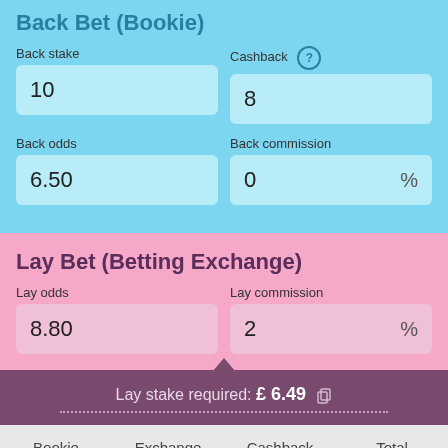Back Bet (Bookie)
Back stake: 10, Cashback: 8
Back odds: 6.50, Back commission: 0 %
Lay Bet (Betting Exchange)
Lay odds: 8.80, Lay commission: 2 %
Lay stake required: £ 6.49
| Bookie | Exchange | Cashback | Total |
| --- | --- | --- | --- |
If back bet wins